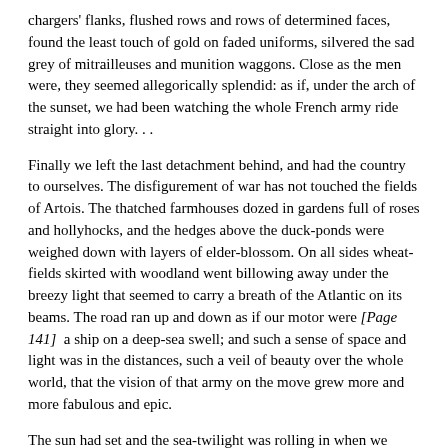chargers' flanks, flushed rows and rows of determined faces, found the least touch of gold on faded uniforms, silvered the sad grey of mitrailleuses and munition waggons. Close as the men were, they seemed allegorically splendid: as if, under the arch of the sunset, we had been watching the whole French army ride straight into glory. . .
Finally we left the last detachment behind, and had the country to ourselves. The disfigurement of war has not touched the fields of Artois. The thatched farmhouses dozed in gardens full of roses and hollyhocks, and the hedges above the duck-ponds were weighed down with layers of elder-blossom. On all sides wheat-fields skirted with woodland went billowing away under the breezy light that seemed to carry a breath of the Atlantic on its beams. The road ran up and down as if our motor were [Page 141]  a ship on a deep-sea swell; and such a sense of space and light was in the distances, such a veil of beauty over the whole world, that the vision of that army on the move grew more and more fabulous and epic.
The sun had set and the sea-twilight was rolling in when we dipped down from the town of Montreuil to the valley below, where the towers of an ancient abbey-church rise above terraced orchards. The gates at the end of the avenue were thrown open, and the motor drove into a monastery court full of box and roses.